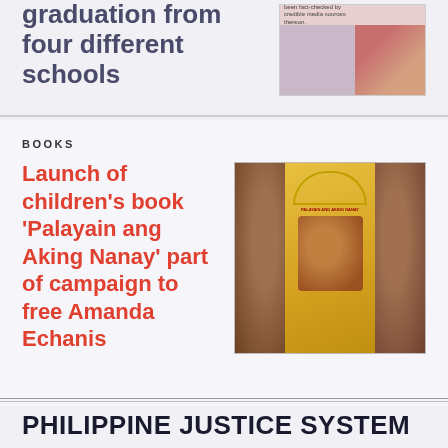graduation from four different schools
[Figure (photo): Thumbnail image with overlay text reading 'been fact-checked by credible media sources' and a photo of a room interior with cushions.]
BOOKS
Launch of children's book 'Palayain ang Aking Nanay' part of campaign to free Amanda Echanis
[Figure (photo): Book cover image for 'Palayain ang Aking Nanay' showing two figures embracing, with a golden yellow background and ornate arch detail. Side panels show blurred background figures.]
PHILIPPINE JUSTICE SYSTEM